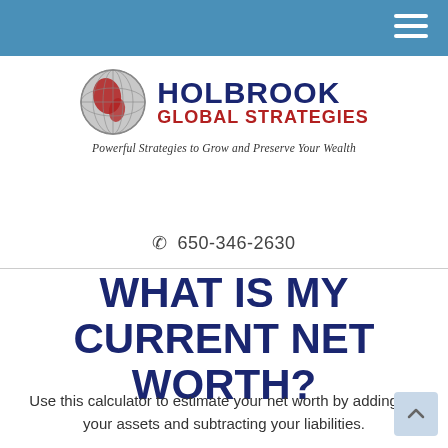Navigation bar with hamburger menu
[Figure (logo): Holbrook Global Strategies logo with globe icon, company name in navy and red, and tagline 'Powerful Strategies to Grow and Preserve Your Wealth']
650-346-2630
WHAT IS MY CURRENT NET WORTH?
Use this calculator to estimate your net worth by adding up your assets and subtracting your liabilities.